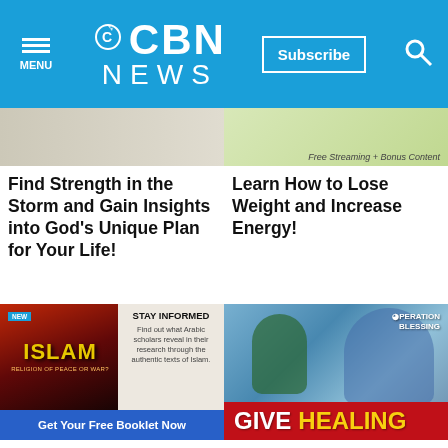CBN NEWS | Subscribe
[Figure (photo): Partial image top left - book or product image]
Find Strength in the Storm and Gain Insights into God's Unique Plan for Your Life!
[Figure (photo): Partial image top right - Free Streaming + Bonus Content banner]
Learn How to Lose Weight and Increase Energy!
[Figure (infographic): STAY INFORMED ad - Islam: Religion of Peace or War? booklet. Get Your Free Booklet Now button.]
Arabic scholars reveal stunning truth you can't afford to ignore
[Figure (photo): Operation Blessing ad - doctor treating child patient. GIVE HEALING red banner.]
You can give them the priceless gift of healing today!